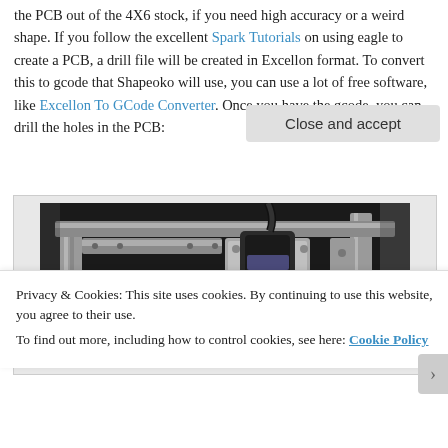the PCB out of the 4X6 stock, if you need high accuracy or a weird shape. If you follow the excellent Spark Tutorials on using eagle to create a PCB, a drill file will be created in Excellon format. To convert this to gcode that Shapeoko will use, you can use a lot of free software, like Excellon To GCode Converter. Once you have the gcode, you can drill the holes in the PCB:
[Figure (photo): Photo of a Shapeoko CNC machine with a spindle/router head mounted on aluminum extrusion rails, positioned over a wooden work surface. The machine hardware includes various metal brackets and mounting hardware.]
Privacy & Cookies: This site uses cookies. By continuing to use this website, you agree to their use.
To find out more, including how to control cookies, see here: Cookie Policy